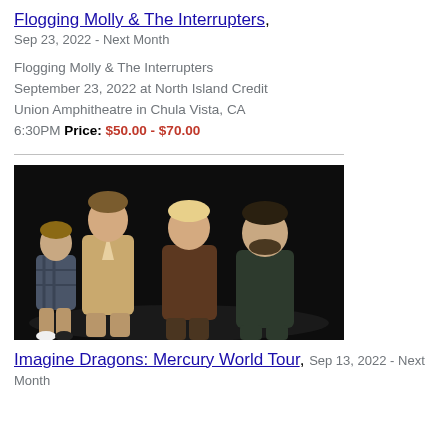Flogging Molly & The Interrupters, Sep 23, 2022 - Next Month
Flogging Molly & The Interrupters September 23, 2022 at North Island Credit Union Amphitheatre in Chula Vista, CA 6:30PM Price: $50.00 - $70.00
[Figure (photo): Four men seated against a dark background — a band promotional photo for Imagine Dragons]
Imagine Dragons: Mercury World Tour, Sep 13, 2022 - Next Month